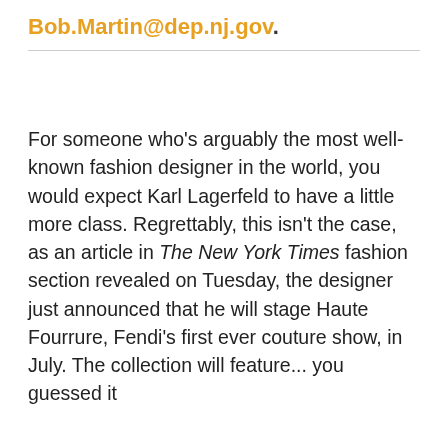Bob.Martin@dep.nj.gov.
For someone who's arguably the most well-known fashion designer in the world, you would expect Karl Lagerfeld to have a little more class. Regrettably, this isn't the case, as an article in The New York Times fashion section revealed on Tuesday, the designer just announced that he will stage Haute Fourrure, Fendi's first ever couture show, in July. The collection will feature... you guessed it